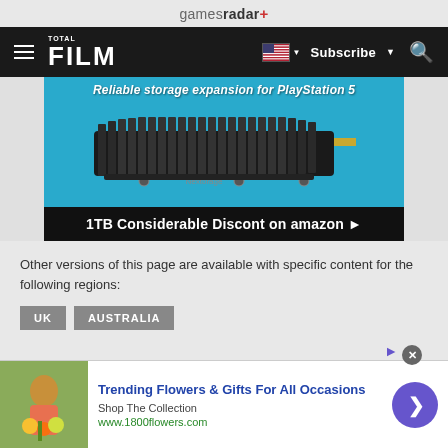gamesradar+
[Figure (screenshot): Navigation bar with hamburger menu, TOTAL FILM logo, US flag dropdown, Subscribe button, and search icon on dark background]
[Figure (photo): Advertisement banner for Nextorage 1TB SSD storage expansion for PlayStation 5 on blue background, with CTA: 1TB Considerable Discont on amazon]
Other versions of this page are available with specific content for the following regions:
UK
AUSTRALIA
[Figure (photo): Bottom advertisement: Trending Flowers & Gifts For All Occasions - Shop The Collection - www.1800flowers.com, with image of woman holding flowers]